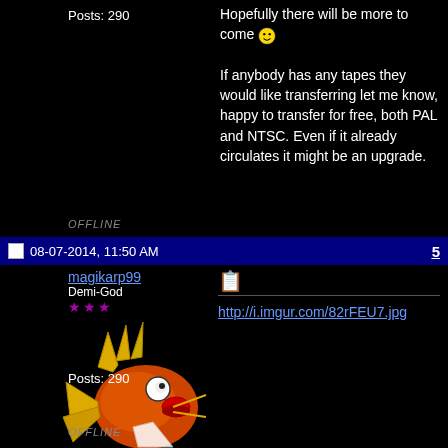Posts: 290
Hopefully there will be more to come 🙂

If anybody has any tapes they would like transferring let me know, happy to transfer for free, both PAL and NTSC. Even if it already circulates it might be an upgrade.
OFFLINE
08-07-2014, 11:50 AM
5
magikarp99
Demi-God
★★★
[Figure (illustration): Magikarp (Pokemon) avatar - orange fish with yellow fins on black background]
Posts: 290
http://i.imgur.com/82rFEU7.jpg
OFFLINE